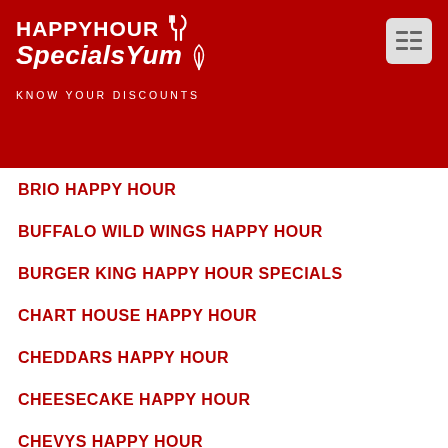HAPPYHOUR SpecialsYum KNOW YOUR DISCOUNTS
BRIO HAPPY HOUR
BUFFALO WILD WINGS HAPPY HOUR
BURGER KING HAPPY HOUR SPECIALS
CHART HOUSE HAPPY HOUR
CHEDDARS HAPPY HOUR
CHEESECAKE HAPPY HOUR
CHEVYS HAPPY HOUR
CHILIS HAPPY HOUR
CHUYS HAPPY HOUR